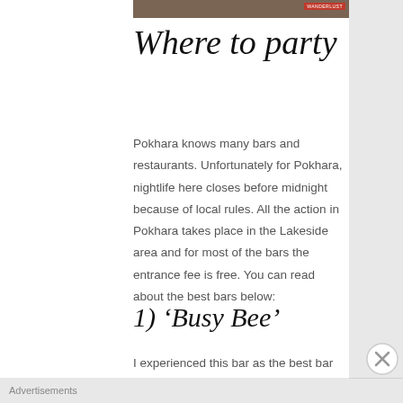[Figure (photo): Partial photo strip at top of page, dark brownish tones, partially cropped]
Where to party
Pokhara knows many bars and restaurants. Unfortunately for Pokhara, nightlife here closes before midnight because of local rules. All the action in Pokhara takes place in the Lakeside area and for most of the bars the entrance fee is free. You can read about the best bars below:
1)  'Busy Bee'
I experienced this bar as the best bar in
Advertisements